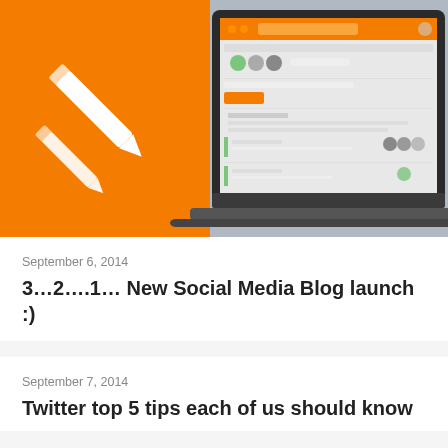[Figure (screenshot): Blog post header image showing an orange background with a white pencil/edit icon on the left half, and a laptop screenshot of a social media management interface on the right half.]
September 6, 2014
3…2….1… New Social Media Blog launch :)
September 7, 2014
Twitter top 5 tips each of us should know